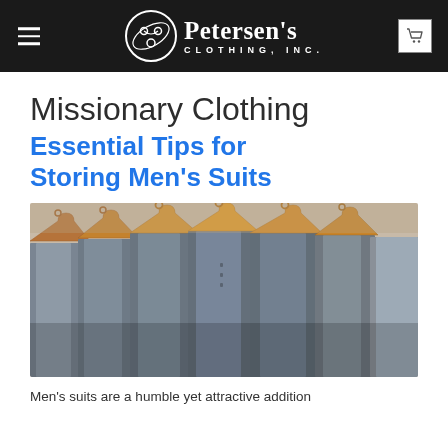Petersen's Clothing, Inc.
Missionary Clothing
Essential Tips for Storing Men's Suits
[Figure (photo): Multiple grey men's suits hanging on wooden hangers on a rack, close-up view]
Men's suits are a humble yet attractive addition